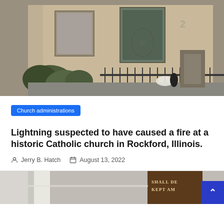[Figure (photo): Exterior of a historic Catholic church building with tan/beige brick walls, tall arched stained glass windows with ornate ironwork, bushes in front, black iron fence along the sidewalk, and flower arrangements visible near the entrance.]
Church administrations
Lightning suspected to have caused a fire at a historic Catholic church in Rockford, Illinois.
Jerry B. Hatch   August 13, 2022
[Figure (photo): Partial view of another article's photo showing an interior corridor and a dark wood panel with partial text 'SHALL DE... KEPT AM...']